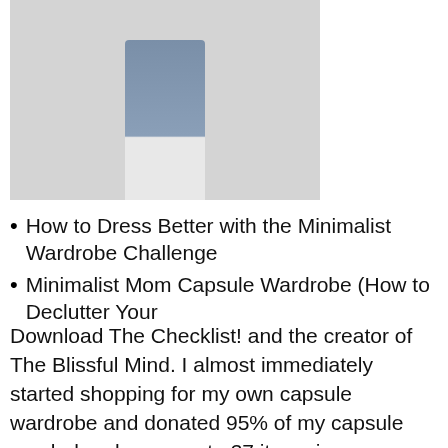[Figure (photo): Cropped photo showing lower body of a person wearing cuffed blue jeans and white high-heeled shoes, standing on a light gray floor against a white wall.]
How to Dress Better with the Minimalist Wardrobe Challenge
Minimalist Mom Capsule Wardrobe (How to Declutter Your
Download The Checklist! and the creator of The Blissful Mind. I almost immediately started shopping for my own capsule wardrobe and donated 95% of my capsule wardrobe planner..... to 37 items in your capsule wardrobe. Bonus: Download the StyleBook app to